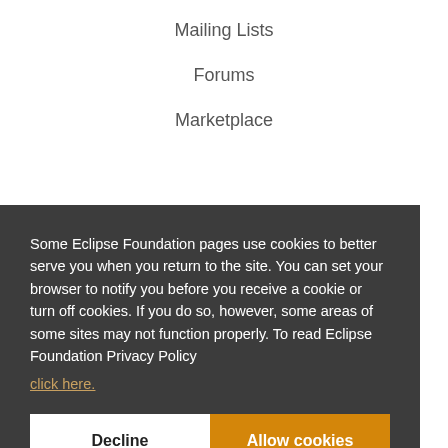Mailing Lists
Forums
Marketplace
Some Eclipse Foundation pages use cookies to better serve you when you return to the site. You can set your browser to notify you before you receive a cookie or turn off cookies. If you do so, however, some areas of some sites may not function properly. To read Eclipse Foundation Privacy Policy click here.
Decline
Allow cookies
[Figure (other): Social media icons: Twitter, Facebook, YouTube, LinkedIn]